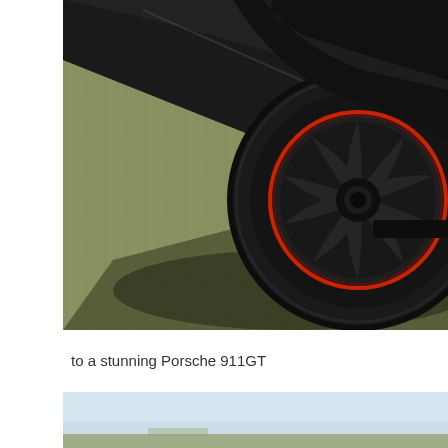[Figure (photo): Close-up photograph of a black Porsche 911GT rear wheel and tire on grass. The wheel has a dark multi-spoke design with a red accent ring. The car body is black and highly polished. The background is dry grass with a shadow cast from the car.]
to a stunning Porsche 911GT
[Figure (photo): Partial view of another photo showing a light blue sky and grass at the bottom, likely another angle of the Porsche 911GT.]